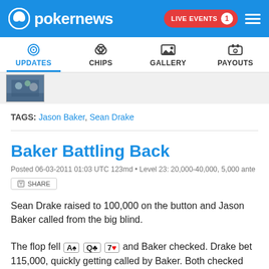pokernews — LIVE EVENTS 1
UPDATES | CHIPS | GALLERY | PAYOUTS
[Figure (photo): Thumbnail photo of poker event]
TAGS: Jason Baker, Sean Drake
Baker Battling Back
Posted 06-03-2011 01:03 UTC 123md • Level 23: 20,000-40,000, 5,000 ante
Sean Drake raised to 100,000 on the button and Jason Baker called from the big blind.
The flop fell A♠ Q♣ 7♥ and Baker checked. Drake bet 115,000, quickly getting called by Baker. Both checked the 7♣